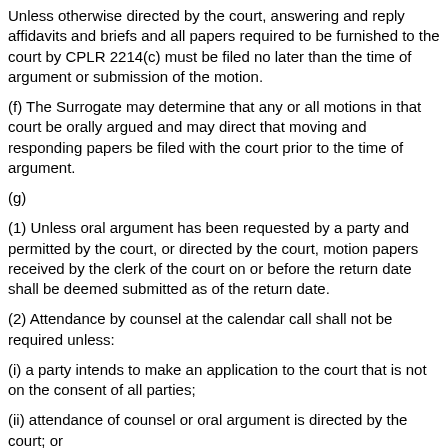Unless otherwise directed by the court, answering and reply affidavits and briefs and all papers required to be furnished to the court by CPLR 2214(c) must be filed no later than the time of argument or submission of the motion.
(f) The Surrogate may determine that any or all motions in that court be orally argued and may direct that moving and responding papers be filed with the court prior to the time of argument.
(g)
(1) Unless oral argument has been requested by a party and permitted by the court, or directed by the court, motion papers received by the clerk of the court on or before the return date shall be deemed submitted as of the return date.
(2) Attendance by counsel at the calendar call shall not be required unless:
(i) a party intends to make an application to the court that is not on the consent of all parties;
(ii) attendance of counsel or oral argument is directed by the court; or
(iii) oral argument is requested by a party.